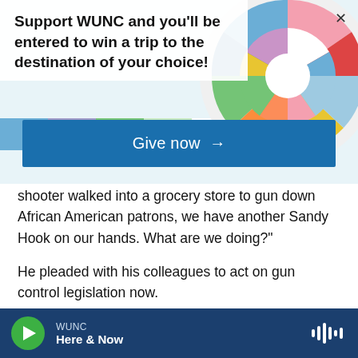[Figure (screenshot): Colorful decorative circular mosaic graphic in background of banner]
Support WUNC and you'll be entered to win a trip to the destination of your choice!
Give now →
shooter walked into a grocery store to gun down African American patrons, we have another Sandy Hook on our hands. What are we doing?"
He pleaded with his colleagues to act on gun control legislation now.
Click here for the latest from the NPR newsroom.
Copyright 2022 NPR. To see more, visit
WUNC
Here & Now